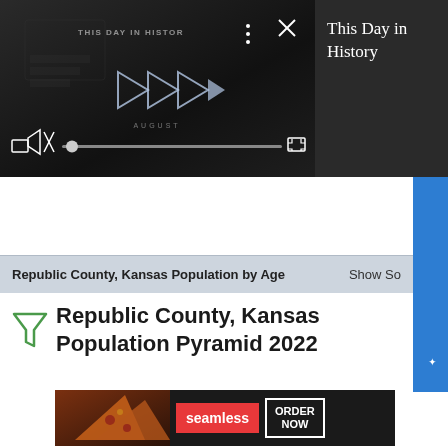[Figure (screenshot): Video player showing 'This Day in History' video with dark background, play button, mute icon, progress bar, and fullscreen icon. Text reads 'THIS DAY IN HISTOR' and 'AUGUST'.]
This Day in History
[Figure (screenshot): Blue vertical Feedback tab on the right side with star icon and text 'Feedback'.]
Republic County, Kansas Population by Age   Show So
[Figure (other): Green funnel/filter icon on the left side of the title.]
Republic County, Kansas Population Pyramid 2022
[Figure (other): Advertisement banner: seamless food ordering app with pizza image, 'seamless' logo in red, and 'ORDER NOW' button.]